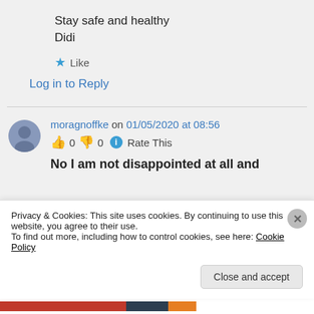Stay safe and healthy
Didi
★ Like
Log in to Reply
moragnoffke on 01/05/2020 at 08:56
👍 0 👎 0 ℹ Rate This
No I am not disappointed at all and
Privacy & Cookies: This site uses cookies. By continuing to use this website, you agree to their use.
To find out more, including how to control cookies, see here: Cookie Policy
Close and accept